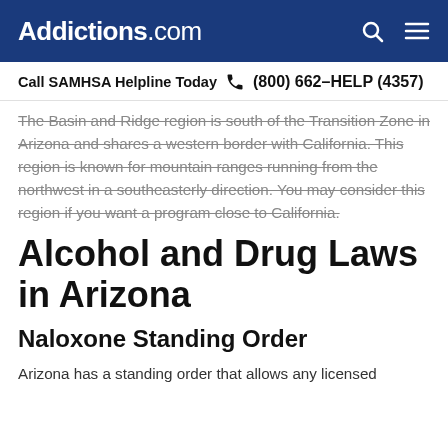Addictions.com
Call SAMHSA Helpline Today  (800) 662-HELP (4357)
The Basin and Ridge region is south of the Transition Zone in Arizona and shares a western border with California. This region is known for mountain ranges running from the northwest in a southeasterly direction. You may consider this region if you want a program close to California.
Alcohol and Drug Laws in Arizona
Naloxone Standing Order
Arizona has a standing order that allows any licensed